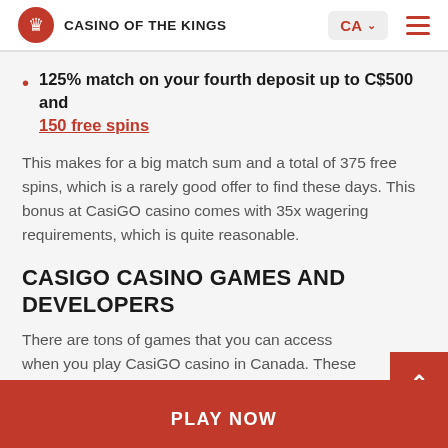CASINO OF THE KINGS | CA | menu
125% match on your fourth deposit up to C$500 and 150 free spins
This makes for a big match sum and a total of 375 free spins, which is a rarely good offer to find these days. This bonus at CasiGO casino comes with 35x wagering requirements, which is quite reasonable.
CASIGO CASINO GAMES AND DEVELOPERS
There are tons of games that you can access when you play CasiGO casino in Canada. These include:
PLAY NOW